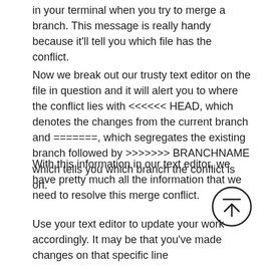in your terminal when you try to merge a branch. This message is really handy because it'll tell you which file has the conflict.
Now we break out our trusty text editor on the file in question and it will alert you to where the conflict lies with <<<<<< HEAD, which denotes the changes from the current branch and =======, which segregates the existing branch followed by >>>>>>> BRANCHNAME which tells you which branch the conflict is on.
With this information in our text editor, we have pretty much all the information that we need to resolve this merge conflict.
[Figure (illustration): Circular scroll-to-top button with an upward arrow and a horizontal line above it]
Use your text editor to update your work accordingly. It may be that you've made changes on that specific line it may be that